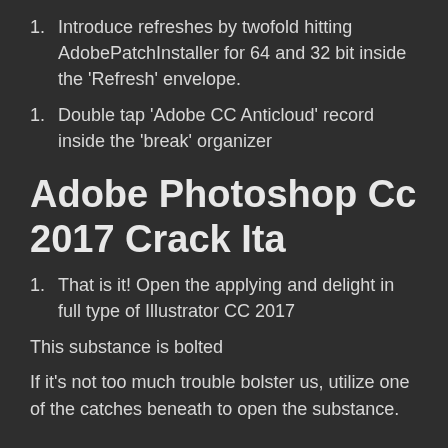1. Introduce refreshes by twofold hitting AdobePatchInstaller for 64 and 32 bit inside the 'Refresh' envelope.
1. Double tap 'Adobe CC Anticloud' record inside the 'break' organizer
Adobe Photoshop Cc 2017 Crack Ita
1. That is it! Open the applying and delight in full type of Illustrator CC 2017
This substance is bolted
If it's not too much trouble bolster us, utilize one of the catches beneath to open the substance.